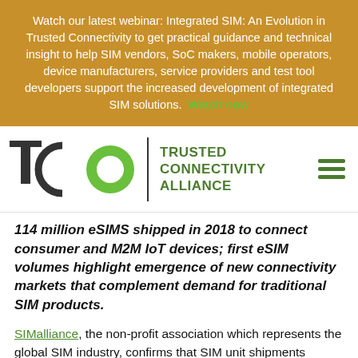Watch our latest webinar: Integrated SIM: An Evolution in Trusted Connectivity to get practical guidance and technical insight to help SIM vendors, SoC makers, mobile operators, device manufacturers, service providers and test tool developers support the increased development of integrated SIM solutions. Watch now
[Figure (logo): Trusted Connectivity Alliance (TCA) logo with hamburger menu icon]
114 million eSIMS shipped in 2018 to connect consumer and M2M IoT devices; first eSIM volumes highlight emergence of new connectivity markets that complement demand for traditional SIM products.
SIMalliance, the non-profit association which represents the global SIM industry, confirms that SIM unit shipments